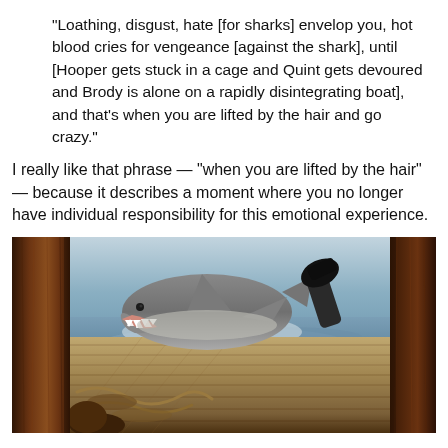“Loathing, disgust, hate [for sharks] envelop you, hot blood cries for vengeance [against the shark], until [Hooper gets stuck in a cage and Quint gets devoured and Brody is alone on a rapidly disintegrating boat], and that’s when you are lifted by the hair and go crazy.”
I really like that phrase — “when you are lifted by the hair” — because it describes a moment where you no longer have individual responsibility for this emotional experience.
[Figure (photo): A still from the movie Jaws showing a shark breaching the ocean surface with teeth visible, framed by wooden boat panels, and a person's leg/shoe visible in the upper right.]